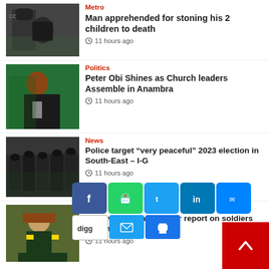[Figure (photo): Police officer in riot gear standing outside]
Metro
Man apprehended for stoning his 2 children to death
11 hours ago
[Figure (photo): Peter Obi speaking into a yellow microphone at an event]
Politics
Peter Obi Shines as Church leaders Assemble in Anambra
11 hours ago
[Figure (photo): Police officers standing in formation outdoors]
News
Police target “very peaceful” 2023 election in South-East – I-G
11 hours ago
[Figure (photo): Military general in dress uniform]
News
Army warns makers over report on soldiers retirement
11 hours ago